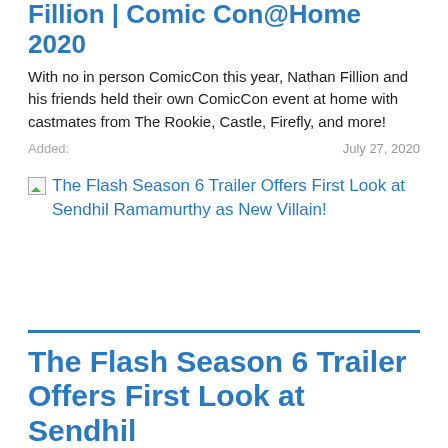Fillion | Comic Con@Home 2020
With no in person ComicCon this year, Nathan Fillion and his friends held their own ComicCon event at home with castmates from The Rookie, Castle, Firefly, and more!
Added:    July 27, 2020
The Flash Season 6 Trailer Offers First Look at Sendhil Ramamurthy as New Villain!
The Flash Season 6 Trailer Offers First Look at Sendhil